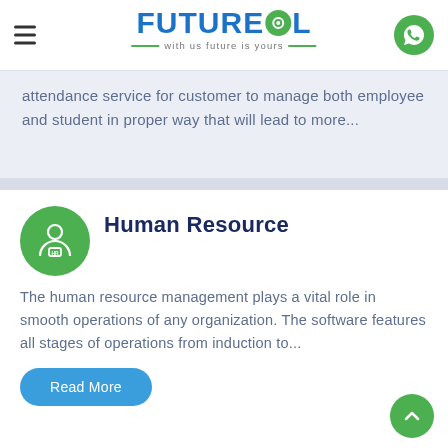FUTURESOL — with us future is yours
attendance service for customer to manage both employee and student in proper way that will lead to more...
Human Resource
The human resource management plays a vital role in smooth operations of any organization. The software features all stages of operations from induction to...
Read More